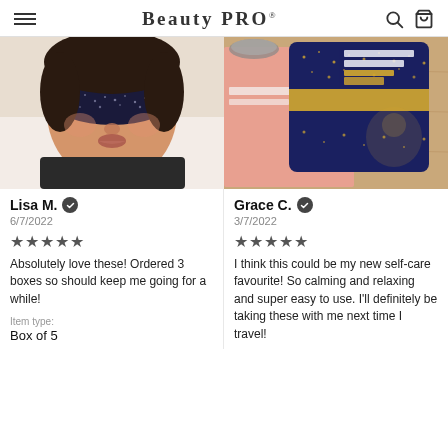BeautyPRO
[Figure (photo): Woman wearing a dark floral eye mask lying on white bedding, selfie photo]
[Figure (photo): BeautyPRO warming eye mask product packaging (navy blue with gold stars) on a wooden table next to other items]
Lisa M. ✓
6/7/2022
★★★★★
Absolutely love these! Ordered 3 boxes so should keep me going for a while!
Item type:
Box of 5
Grace C. ✓
3/7/2022
★★★★★
I think this could be my new self-care favourite! So calming and relaxing and super easy to use. I'll definitely be taking these with me next time I travel!